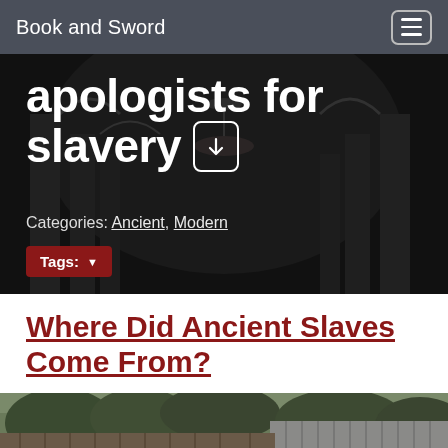Book and Sword
apologists for slavery
Categories: Ancient, Modern
Tags:
Where Did Ancient Slaves Come From?
[Figure (photo): Outdoor photograph showing a weathered wooden fence and corrugated metal fence along a road with overgrown vegetation and trees in the background, black and white tones.]